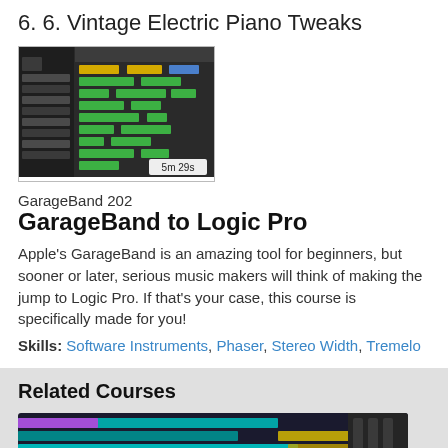6. 6. Vintage Electric Piano Tweaks
[Figure (screenshot): GarageBand screenshot showing MIDI piano roll with colorful blocks, duration badge showing 5m 29s]
GarageBand 202
GarageBand to Logic Pro
Apple's GarageBand is an amazing tool for beginners, but sooner or later, serious music makers will think of making the jump to Logic Pro. If that's your case, this course is specifically made for you!
Skills: Software Instruments, Phaser, Stereo Width, Tremelo
Related Courses
[Figure (screenshot): Logic Pro course card showing colorful DAW tracks interface with orange footer and Logic Pro text]